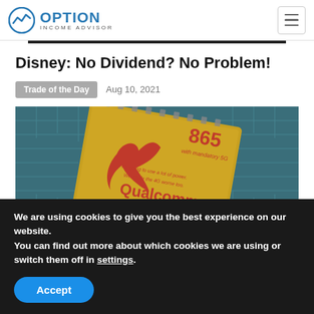OPTION INCOME ADVISOR
Disney: No Dividend? No Problem!
Trade of the Day  Aug 10, 2021
[Figure (photo): Qualcomm Snapdragon 865 chip with mandatory 5G. Text on chip reads: 'It's going to use a lot of power. We made the 4G worse too.']
We are using cookies to give you the best experience on our website.
You can find out more about which cookies we are using or switch them off in settings.